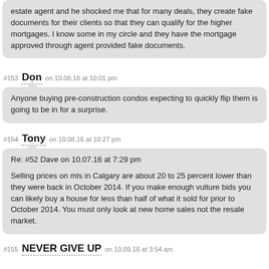estate agent and he shocked me that for many deals, they create fake documents for their clients so that they can qualify for the higher mortgages. I know some in my circle and they have the mortgage approved through agent provided fake documents.
#153 Don on 10.08.16 at 10:01 pm
Anyone buying pre-construction condos expecting to quickly flip them is going to be in for a surprise.
#154 Tony on 10.08.16 at 10:27 pm
Re: #52 Dave on 10.07.16 at 7:29 pm
Selling prices on mls in Calgary are about 20 to 25 percent lower than they were back in October 2014. If you make enough vulture bids you can likely buy a house for less than half of what it sold for prior to October 2014. You must only look at new home sales not the resale market.
#155 NEVER GIVE UP on 10.09.16 at 3:54 am